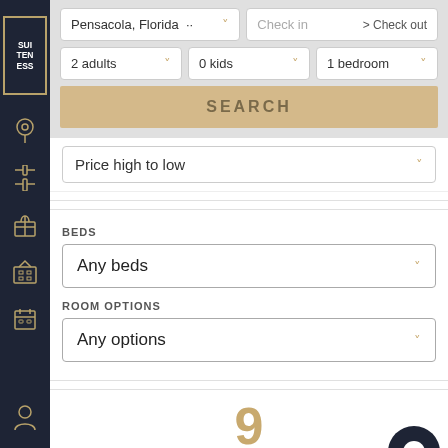[Figure (screenshot): Suiteness logo in sidebar - white text on dark navy background with gold border]
[Figure (screenshot): Navigation sidebar icons: location pin, filter/tower, gift, grid/building, calendar, user profile]
Pensacola, Florida
Check in  > Check out
2 adults
0 kids
1 bedroom
SEARCH
Price high to low
BEDS
Any beds
ROOM OPTIONS
Any options
9
suites